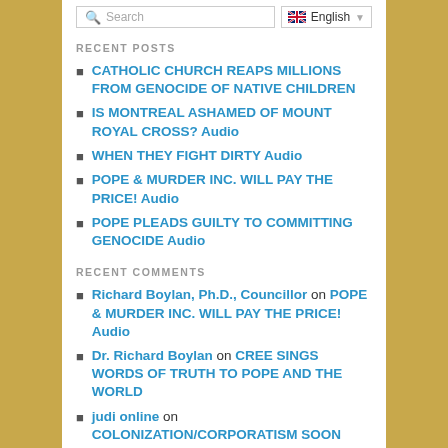Search | English
RECENT POSTS
CATHOLIC CHURCH REAPS MILLIONS FROM GENOCIDE OF NATIVE CHILDREN
IS MONTREAL ASHAMED OF MOUNT ROYAL CROSS? Audio
WHEN THEY FIGHT DIRTY Audio
POPE & MURDER INC. WILL PAY THE PRICE! Audio
POPE PLEADS GUILTY TO COMMITTING GENOCIDE Audio
RECENT COMMENTS
Richard Boylan, Ph.D., Councillor on POPE & MURDER INC. WILL PAY THE PRICE! Audio
Dr. Richard Boylan on CREE SINGS WORDS OF TRUTH TO POPE AND THE WORLD
judi online on COLONIZATION/CORPORATISM SOON GONE
Isaiah R. on Forgotten arguments of Deskaheh.